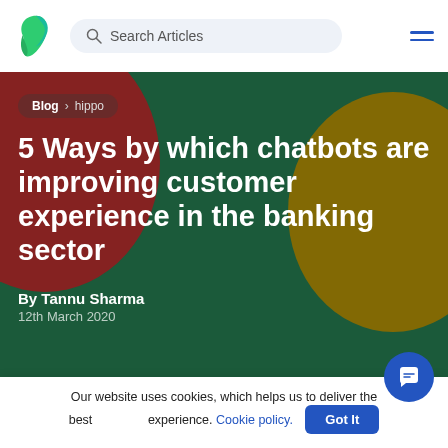Search Articles
Blog > hippo
5 Ways by which chatbots are improving customer experience in the banking sector
By Tannu Sharma
12th March 2020
Our website uses cookies, which helps us to deliver the best experience. Cookie policy. Got It